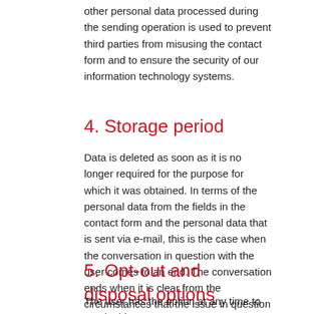other personal data processed during the sending operation is used to prevent third parties from misusing the contact form and to ensure the security of our information technology systems.
4. Storage period
Data is deleted as soon as it is no longer required for the purpose for which it was obtained. In terms of the personal data from the fields in the contact form and the personal data that is sent via e-mail, this is the case when the conversation in question with the user comes to an end. The conversation ends when it is clear from the circumstances that the issue in question has been clarified conclusively.
5. Opt-out and disposal options
The user has the option at any time to revoke his or